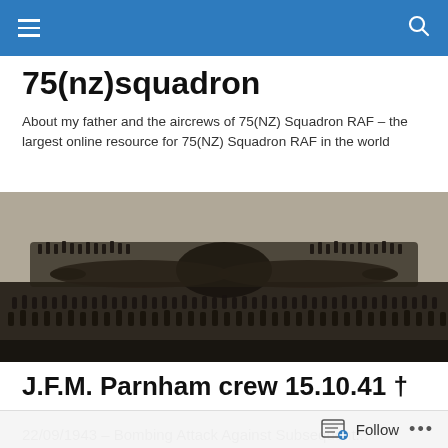75(nz)squadron navigation bar
75(nz)squadron
About my father and the aircrews of 75(NZ) Squadron RAF – the largest online resource for 75(NZ) Squadron RAF in the world
[Figure (photo): Large black and white group photograph of hundreds of RAF airmen and ground crew posing in front of a large aircraft, arranged in tiered rows.]
J.F.M. Parnham crew 15.10.41 †
22/09/1943 – Bombing Attack Against Subsequent...